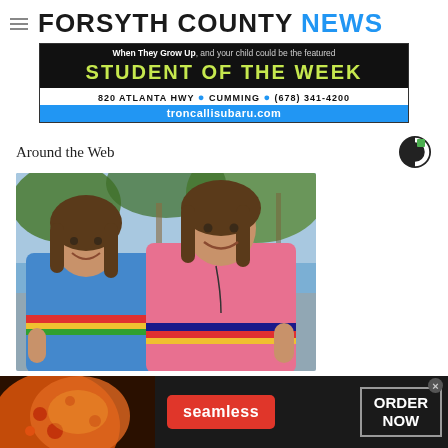FORSYTH COUNTY NEWS
[Figure (photo): Subaru Student of the Week advertisement banner: dark background with 'When They Grow Up, and your child could be the featured STUDENT OF THE WEEK' in yellow-green bold text. Address: 820 ATLANTA HWY • CUMMING • (678) 341-4200. URL: troncallisubaru.com on blue background.]
Around the Web
[Figure (photo): Two young girls smiling and making peace/thumbs-up signs. One wearing blue jacket with multicolor stripes, one wearing pink hoodie with multicolor stripes. Palm trees in background.]
[Figure (photo): Seamless food delivery advertisement at bottom. Pizza image on left, red 'seamless' button in center, 'ORDER NOW' button on right with dark background.]